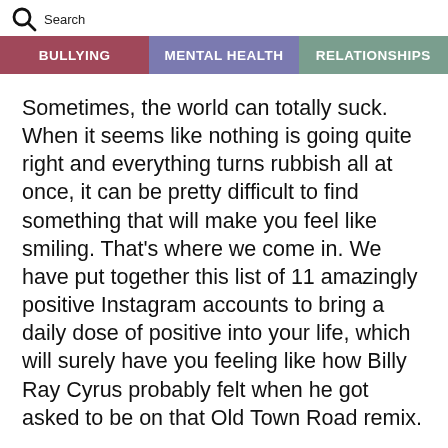Search
BULLYING | MENTAL HEALTH | RELATIONSHIPS
Sometimes, the world can totally suck. When it seems like nothing is going quite right and everything turns rubbish all at once, it can be pretty difficult to find something that will make you feel like smiling. That’s where we come in. We have put together this list of 11 amazingly positive Instagram accounts to bring a daily dose of positive into your life, which will surely have you feeling like how Billy Ray Cyrus probably felt when he got asked to be on that Old Town Road remix.
1) LITERALLY, WHAT IT SAYS